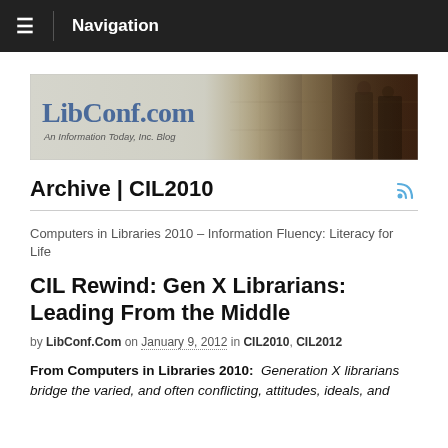≡ Navigation
[Figure (logo): LibConf.com banner logo — blue serif text on grey background with library photo, tagline: An Information Today, Inc. Blog]
Archive | CIL2010
Computers in Libraries 2010 – Information Fluency: Literacy for Life
CIL Rewind: Gen X Librarians: Leading From the Middle
by LibConf.Com on January 9, 2012 in CIL2010, CIL2012
From Computers in Libraries 2010: Generation X librarians bridge the varied, and often conflicting, attitudes, ideals, and